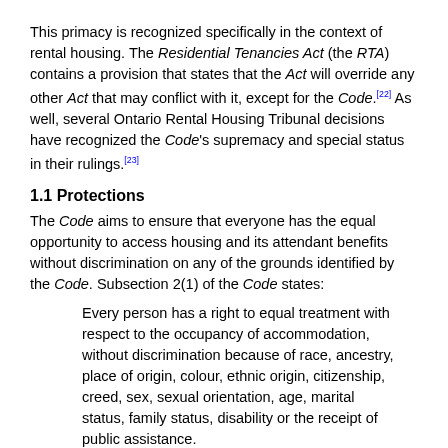This primacy is recognized specifically in the context of rental housing. The Residential Tenancies Act (the RTA) contains a provision that states that the Act will override any other Act that may conflict with it, except for the Code.[22] As well, several Ontario Rental Housing Tribunal decisions have recognized the Code's supremacy and special status in their rulings.[23]
1.1 Protections
The Code aims to ensure that everyone has the equal opportunity to access housing and its attendant benefits without discrimination on any of the grounds identified by the Code. Subsection 2(1) of the Code states:
Every person has a right to equal treatment with respect to the occupancy of accommodation, without discrimination because of race, ancestry, place of origin, colour, ethnic origin, citizenship, creed, sex, sexual orientation, age, marital status, family status, disability or the receipt of public assistance.
Subsection 2(2) prohibits harassment in accommodation:
Every person has a right to...